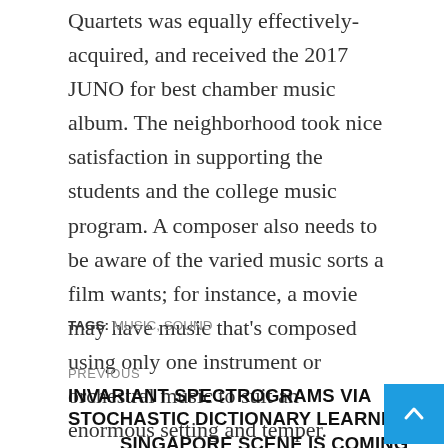Quartets was equally effectively-acquired, and received the 2017 JUNO for best chamber music album. The neighborhood took nice satisfaction in supporting the students and the college music program. A composer also needs to be aware of the varied music sorts a film wants; for instance, a movie may have music that’s composed using only one instrument or orchestral music to suit an enormous setting and temper.
TAGS: MUSIC, SOUND
PREVIOUS
INVARIANT SPECTROGRAMS VIA STOCHASTIC DICTIONARY LEARNING
SINGAPORE SCENE IS COMING INTO GOLDEN